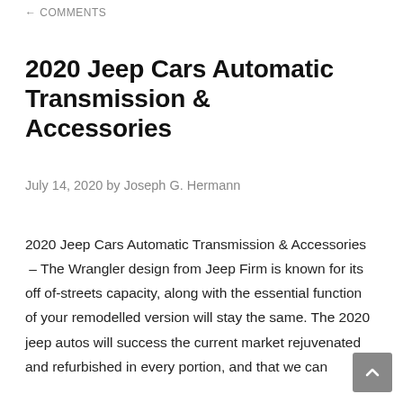COMMENTS
2020 Jeep Cars Automatic Transmission & Accessories
July 14, 2020 by Joseph G. Hermann
2020 Jeep Cars Automatic Transmission & Accessories  – The Wrangler design from Jeep Firm is known for its off of-streets capacity, along with the essential function of your remodelled version will stay the same. The 2020 jeep autos will success the current market rejuvenated and refurbished in every portion, and that we can